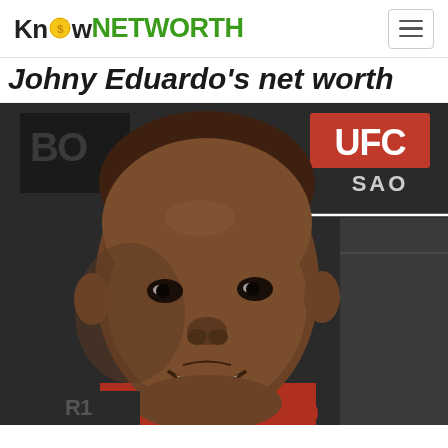Know NETWORTH
Johny Eduardo's net worth
[Figure (photo): Portrait photo of Johny Eduardo smiling, wearing a red shirt, standing in front of a UFC SAO banner/backdrop in dark gray and red colors.]